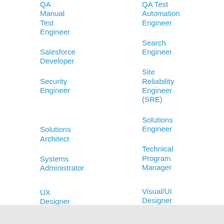QA Manual Test Engineer
QA Test Automation Engineer
Salesforce Developer
Search Engineer
Security Engineer
Site Reliability Engineer (SRE)
Solutions Architect
Solutions Engineer
Systems Administrator
Technical Program Manager
UX Designer
Visual/UI Designer